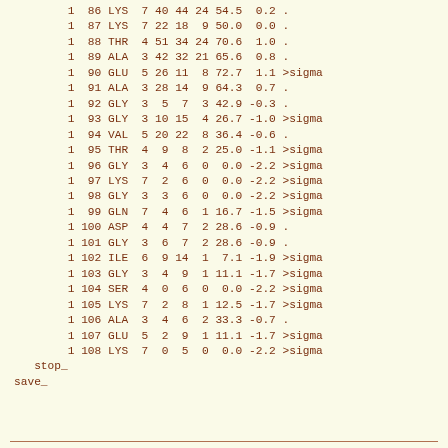| 1 | 86 | LYS | 7 | 40 | 44 | 24 | 54.5 | 0.2 | . |
| 1 | 87 | LYS | 7 | 22 | 18 | 9 | 50.0 | 0.0 | . |
| 1 | 88 | THR | 4 | 51 | 34 | 24 | 70.6 | 1.0 | . |
| 1 | 89 | ALA | 3 | 42 | 32 | 21 | 65.6 | 0.8 | . |
| 1 | 90 | GLU | 5 | 26 | 11 | 8 | 72.7 | 1.1 | >sigma |
| 1 | 91 | ALA | 3 | 28 | 14 | 9 | 64.3 | 0.7 | . |
| 1 | 92 | GLY | 3 | 5 | 7 | 3 | 42.9 | -0.3 | . |
| 1 | 93 | GLY | 3 | 10 | 15 | 4 | 26.7 | -1.0 | >sigma |
| 1 | 94 | VAL | 5 | 20 | 22 | 8 | 36.4 | -0.6 | . |
| 1 | 95 | THR | 4 | 9 | 8 | 2 | 25.0 | -1.1 | >sigma |
| 1 | 96 | GLY | 3 | 4 | 6 | 0 | 0.0 | -2.2 | >sigma |
| 1 | 97 | LYS | 7 | 2 | 6 | 0 | 0.0 | -2.2 | >sigma |
| 1 | 98 | GLY | 3 | 3 | 6 | 0 | 0.0 | -2.2 | >sigma |
| 1 | 99 | GLN | 7 | 4 | 6 | 1 | 16.7 | -1.5 | >sigma |
| 1 | 100 | ASP | 4 | 4 | 7 | 2 | 28.6 | -0.9 | . |
| 1 | 101 | GLY | 3 | 6 | 7 | 2 | 28.6 | -0.9 | . |
| 1 | 102 | ILE | 6 | 9 | 14 | 1 | 7.1 | -1.9 | >sigma |
| 1 | 103 | GLY | 3 | 4 | 9 | 1 | 11.1 | -1.7 | >sigma |
| 1 | 104 | SER | 4 | 0 | 6 | 0 | 0.0 | -2.2 | >sigma |
| 1 | 105 | LYS | 7 | 2 | 8 | 1 | 12.5 | -1.7 | >sigma |
| 1 | 106 | ALA | 3 | 4 | 6 | 2 | 33.3 | -0.7 | . |
| 1 | 107 | GLU | 5 | 2 | 9 | 1 | 11.1 | -1.7 | >sigma |
| 1 | 108 | LYS | 7 | 0 | 5 | 0 | 0.0 | -2.2 | >sigma |
stop_
save_